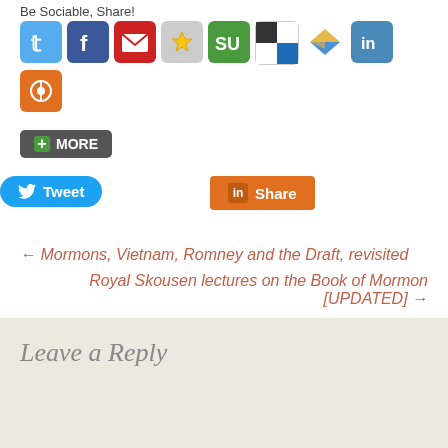Be Sociable, Share!
[Figure (infographic): Row of social media sharing icons: Twitter (blue), Facebook (dark blue), Email (red), Star/Favorites (gray), StumbleUpon (green), Delicious (black/white), Google Buzz (blue arrow), LinkedIn (blue), MySpace (orange)]
[Figure (infographic): + MORE button in dark gray with green plus icon]
[Figure (infographic): Tweet button (blue rounded) and LinkedIn Share button (orange)]
← Mormons, Vietnam, Romney and the Draft, revisited
Royal Skousen lectures on the Book of Mormon [UPDATED] →
Leave a Reply